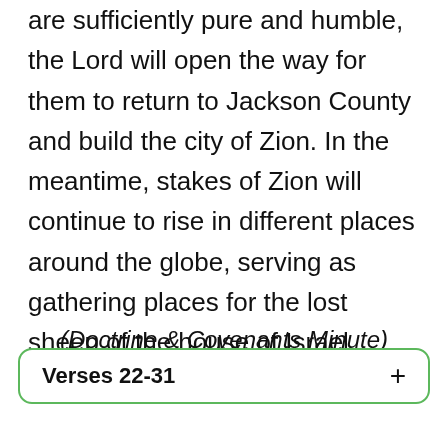are sufficiently pure and humble, the Lord will open the way for them to return to Jackson County and build the city of Zion. In the meantime, stakes of Zion will continue to rise in different places around the globe, serving as gathering places for the lost sheep of the house of Israel.
(Doctrine & Covenants Minute)
Verses 22-31